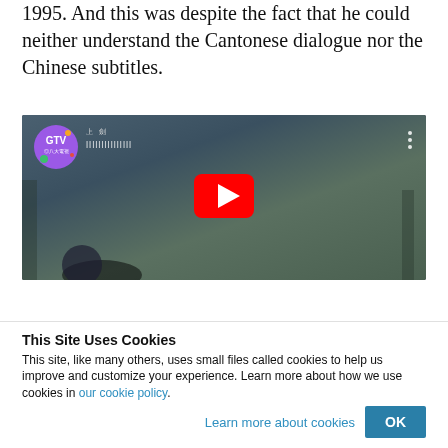1995. And this was despite the fact that he could neither understand the Cantonese dialogue nor the Chinese subtitles.
[Figure (screenshot): YouTube video thumbnail showing a scene from a Chinese/Taiwanese TV drama. A young man in blue traditional clothing holds a sword. GTV channel logo visible top-left. YouTube play button in center.]
This Site Uses Cookies
This site, like many others, uses small files called cookies to help us improve and customize your experience. Learn more about how we use cookies in our cookie policy.
Learn more about cookies   OK